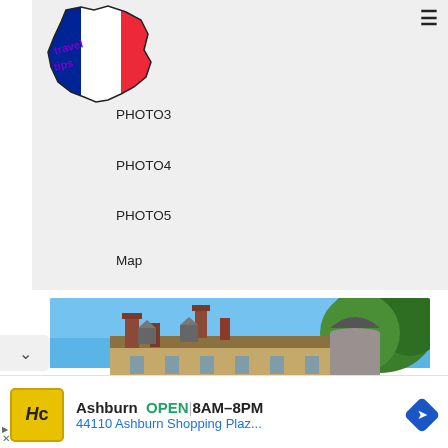[Figure (logo): France travel tips logo - outline of France filled with French flag colors (blue, white, red) and purple diagonal dotted text overlay]
PHOTO3
PHOTO4
PHOTO5
Map
[Figure (photo): Photo of a French chateau or castle showing rooftop with chimneys, a round tower with conical slate roof, and green trees against a blue sky]
Ashburn  OPEN  8AM–8PM
44110 Ashburn Shopping Plaz...